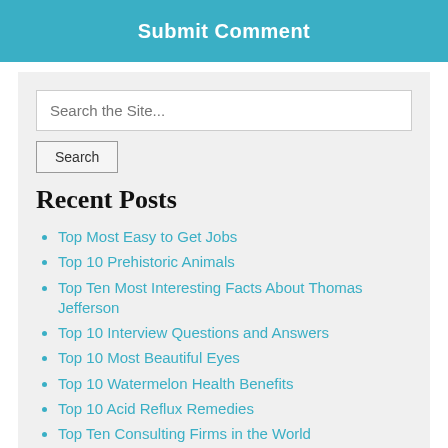Submit Comment
Search the Site...
Recent Posts
Top Most Easy to Get Jobs
Top 10 Prehistoric Animals
Top Ten Most Interesting Facts About Thomas Jefferson
Top 10 Interview Questions and Answers
Top 10 Most Beautiful Eyes
Top 10 Watermelon Health Benefits
Top 10 Acid Reflux Remedies
Top Ten Consulting Firms in the World
Top Ten Medical Schools Across the Globe
Top Ten Nursing Schools Offering the Best Nursing